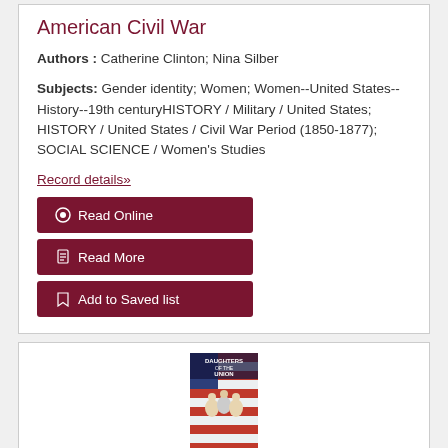American Civil War
Authors : Catherine Clinton; Nina Silber
Subjects: Gender identity; Women; Women--United States--History--19th centuryHISTORY / Military / United States; HISTORY / United States / Civil War Period (1850-1877); SOCIAL SCIENCE / Women's Studies
Record details»
Read Online
Read More
Add to Saved list
[Figure (photo): Book cover of 'Daughters of the Union' showing historical photograph of women with American flag background]